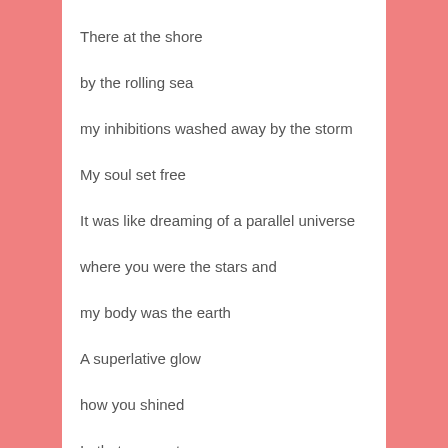There at the shore
by the rolling sea
my inhibitions washed away by the storm
My soul set free
It was like dreaming of a parallel universe
where you were the stars and
my body was the earth
A superlative glow
how you shined
In that moment
that you were mine.